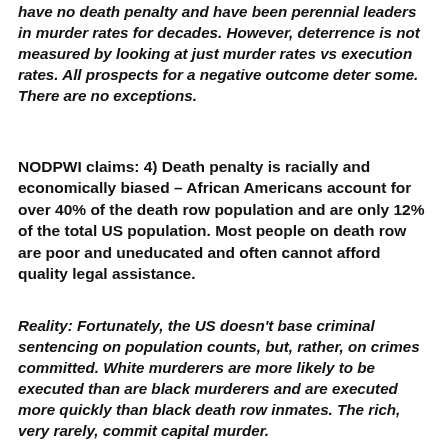have no death penalty and have been perennial leaders in murder rates for decades. However, deterrence is not measured by looking at just murder rates vs execution rates. All prospects for a negative outcome deter some. There are no exceptions.
NODPWI claims: 4) Death penalty is racially and economically biased – African Americans account for over 40% of the death row population and are only 12% of the total US population. Most people on death row are poor and uneducated and often cannot afford quality legal assistance.
Reality: Fortunately, the US doesn't base criminal sentencing on population counts, but, rather, on crimes committed. White murderers are more likely to be executed than are black murderers and are executed more quickly than black death row inmates. The rich, very rarely, commit capital murder.